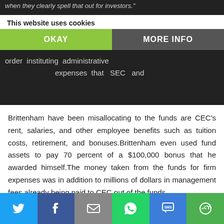when they clearly spell that out for investors.
order instituting administrative expenses that SEC and
Brittenham have been misallocating to the funds are CEC's rent, salaries, and other employee benefits such as tuition costs, retirement, and bonuses.Brittenham even used fund assets to pay 70 percent of a $100,000 bonus that he awarded himself.The money taken from the funds for firm expenses was in addition to millions of dollars in management fees already being paid to CEC out of the funds.
According to the SEC charges, the expense misallocation scheme shrank the funds' cash reserves.So CEC and Brittenham made unauthorized “loans” to the funds at exorbitant rates as high as 17 percent in order to continue